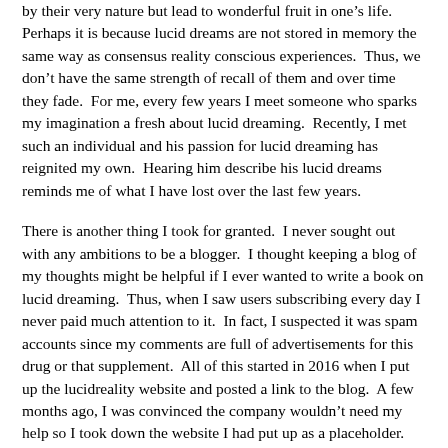by their very nature but lead to wonderful fruit in one's life. Perhaps it is because lucid dreams are not stored in memory the same way as consensus reality conscious experiences. Thus, we don't have the same strength of recall of them and over time they fade. For me, every few years I meet someone who sparks my imagination a fresh about lucid dreaming. Recently, I met such an individual and his passion for lucid dreaming has reignited my own. Hearing him describe his lucid dreams reminds me of what I have lost over the last few years.
There is another thing I took for granted. I never sought out with any ambitions to be a blogger. I thought keeping a blog of my thoughts might be helpful if I ever wanted to write a book on lucid dreaming. Thus, when I saw users subscribing every day I never paid much attention to it. In fact, I suspected it was spam accounts since my comments are full of advertisements for this drug or that supplement. All of this started in 2016 when I put up the lucidreality website and posted a link to the blog. A few months ago, I was convinced the company wouldn't need my help so I took down the website I had put up as a placeholder. As soon as I did, the new subscribers to the blog dried up. Earlier this week I checked to see how many people had subscribed in the last eighteen months. Five thousand. For professional bloggers or even non-professionals that number might mean nothing. For me, it was an eye-opener. Seriously? I hadn't even updated the blog in